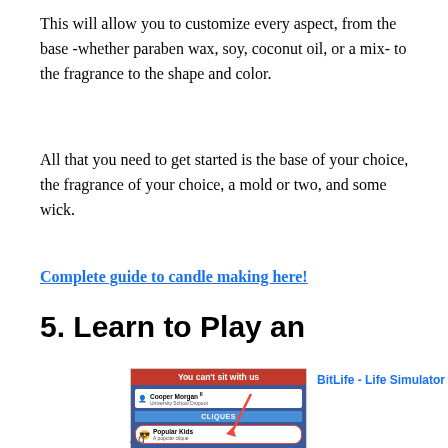This will allow you to customize every aspect, from the base -whether paraben wax, soy, coconut oil, or a mix- to the fragrance to the shape and color.
All that you need to get started is the base of your choice, the fragrance of your choice, a mold or two, and some wick.
Complete guide to candle making here!
5. Learn to Play an
[Figure (screenshot): Advertisement for BitLife - Life Simulator app showing a social media cliques interface with 'You can't sit with us' banner and Popular Kids group highlighted]
Ad